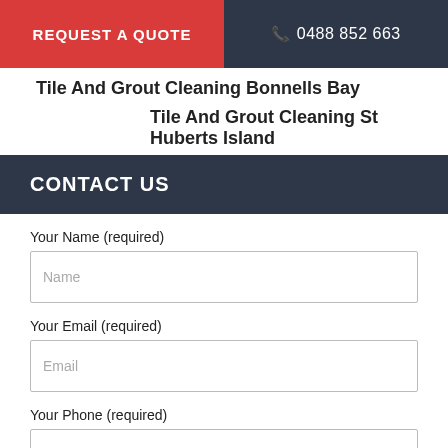REQUEST A QUOTE   📞 0488 852 663
Tile And Grout Cleaning Bonnells Bay
Tile And Grout Cleaning St Huberts Island
CONTACT US
Your Name (required)
Name
Your Email (required)
Email
Your Phone (required)
Phone